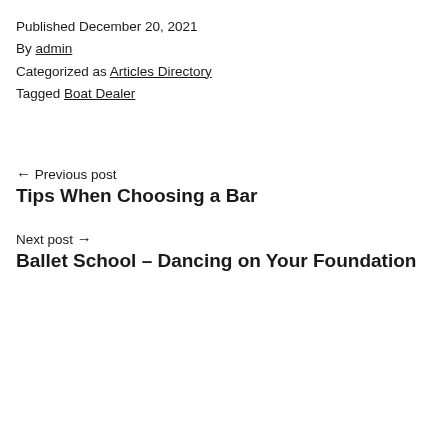Published December 20, 2021
By admin
Categorized as Articles Directory
Tagged Boat Dealer
← Previous post
Tips When Choosing a Bar
Next post →
Ballet School – Dancing on Your Foundation